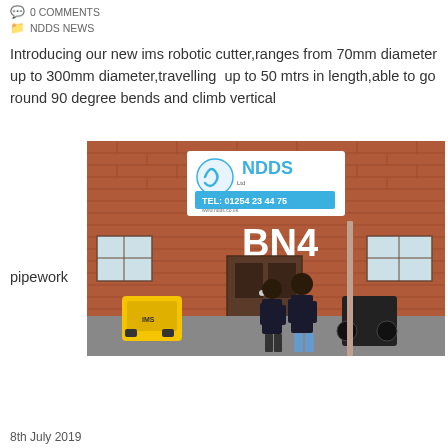0 COMMENTS
NDDS NEWS
Introducing our new ims robotic cutter,ranges from 70mm diameter up to 300mm diameter,travelling  up to 50 mtrs in length,able to go round 90 degree bends and climb vertical pipework
[Figure (photo): Two men standing in front of a brick building with NDDS signage showing TEL: 01254 23 44 75 and BN4, with yellow robotic equipment on the ground]
8th July 2019